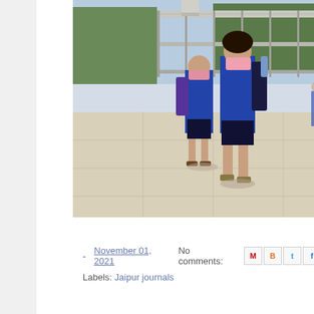[Figure (photo): Two young school children in blue uniforms and backpacks wearing pink face masks walking in a school courtyard. There is a chain-link fence, trees, and a flower pot visible in the background.]
- November 01, 2021   No comments:
Labels: Jaipur journals